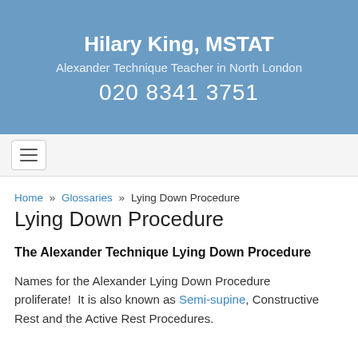Hilary King, MSTAT
Alexander Technique Teacher in North London
020 8341 3751
[Figure (other): Navigation bar with hamburger menu button (three horizontal lines icon)]
Home » Glossaries » Lying Down Procedure
Lying Down Procedure
The Alexander Technique Lying Down Procedure
Names for the Alexander Lying Down Procedure proliferate!  It is also known as Semi-supine, Constructive Rest and the Active Rest Procedures.